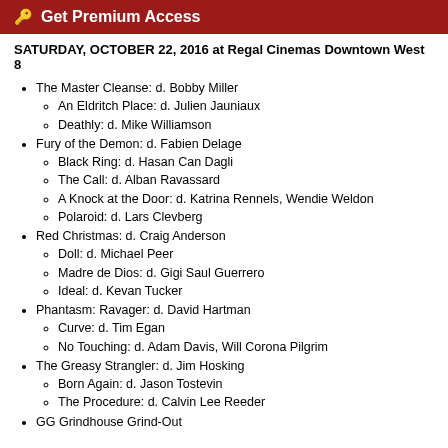Get Premium Access
SATURDAY, OCTOBER 22, 2016 at Regal Cinemas Downtown West 8
The Master Cleanse: d. Bobby Miller
An Eldritch Place: d. Julien Jauniaux
Deathly: d. Mike Williamson
Fury of the Demon: d. Fabien Delage
Black Ring: d. Hasan Can Dagli
The Call: d. Alban Ravassard
A Knock at the Door: d. Katrina Rennels, Wendie Weldon
Polaroid: d. Lars Clevberg
Red Christmas: d. Craig Anderson
Doll: d. Michael Peer
Madre de Dios: d. Gigi Saul Guerrero
Ideal: d. Kevan Tucker
Phantasm: Ravager: d. David Hartman
Curve: d. Tim Egan
No Touching: d. Adam Davis, Will Corona Pilgrim
The Greasy Strangler: d. Jim Hosking
Born Again: d. Jason Tostevin
The Procedure: d. Calvin Lee Reeder
GG Grindhouse Grind-Out